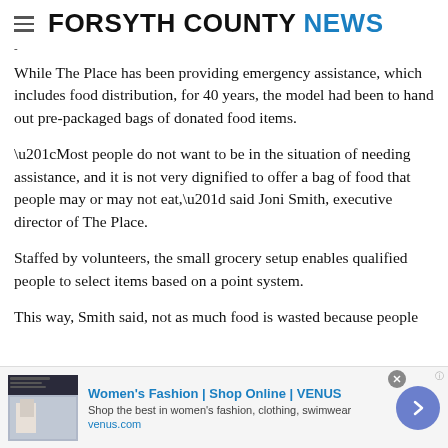FORSYTH COUNTY NEWS
While The Place has been providing emergency assistance, which includes food distribution, for 40 years, the model had been to hand out pre-packaged bags of donated food items.
“Most people do not want to be in the situation of needing assistance, and it is not very dignified to offer a bag of food that people may or may not eat,” said Joni Smith, executive director of The Place.
Staffed by volunteers, the small grocery setup enables qualified people to select items based on a point system.
This way, Smith said, not as much food is wasted because people
[Figure (screenshot): Advertisement banner for Women's Fashion | Shop Online | VENUS. Shows thumbnail image, ad title in blue, description text, venus.com URL, close button, and blue arrow button.]